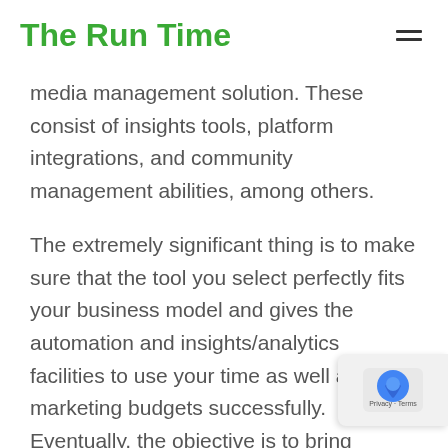The Run Time
media management solution. These consist of insights tools, platform integrations, and community management abilities, among others.
The extremely significant thing is to make sure that the tool you select perfectly fits your business model and gives the automation and insights/analytics facilities to use your time as well as marketing budgets successfully. Eventually, the objective is to bring together your social management and in not divide them across numerous solutions. S whether you're handling six accounts or sixty, the